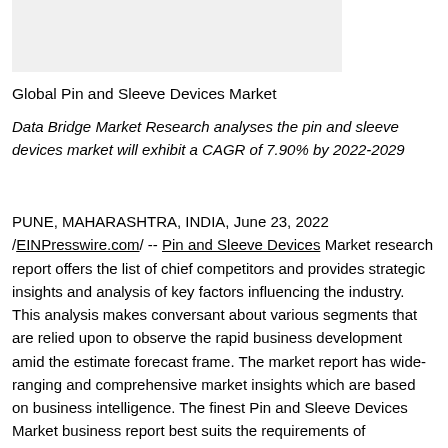[Figure (other): Gray placeholder image block at top of page]
Global Pin and Sleeve Devices Market
Data Bridge Market Research analyses the pin and sleeve devices market will exhibit a CAGR of 7.90% by 2022-2029
PUNE, MAHARASHTRA, INDIA, June 23, 2022 /EINPresswire.com/ -- Pin and Sleeve Devices Market research report offers the list of chief competitors and provides strategic insights and analysis of key factors influencing the industry. This analysis makes conversant about various segments that are relied upon to observe the rapid business development amid the estimate forecast frame. The market report has wide-ranging and comprehensive market insights which are based on business intelligence. The finest Pin and Sleeve Devices Market business report best suits the requirements of